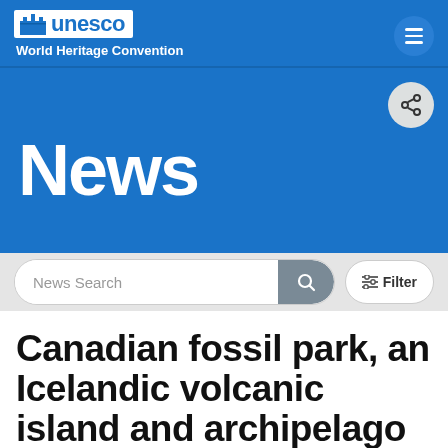UNESCO World Heritage Convention
News
News Search
Canadian fossil park, an Icelandic volcanic island and archipelago